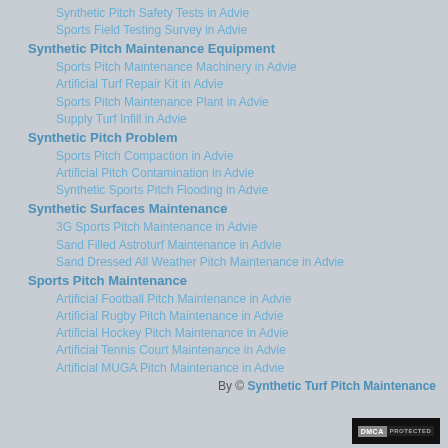Synthetic Pitch Safety Tests in Advie
Sports Field Testing Survey in Advie
Synthetic Pitch Maintenance Equipment
Sports Pitch Maintenance Machinery in Advie
Artificial Turf Repair Kit in Advie
Sports Pitch Maintenance Plant in Advie
Supply Turf Infill in Advie
Synthetic Pitch Problem
Sports Pitch Compaction in Advie
Artificial Pitch Contamination in Advie
Synthetic Sports Pitch Flooding in Advie
Synthetic Surfaces Maintenance
3G Sports Pitch Maintenance in Advie
Sand Filled Astroturf Maintenance in Advie
Sand Dressed All Weather Pitch Maintenance in Advie
Sports Pitch Maintenance
Artificial Football Pitch Maintenance in Advie
Artificial Rugby Pitch Maintenance in Advie
Artificial Hockey Pitch Maintenance in Advie
Artificial Tennis Court Maintenance in Advie
Artificial MUGA Pitch Maintenance in Advie
By © Synthetic Turf Pitch Maintenance